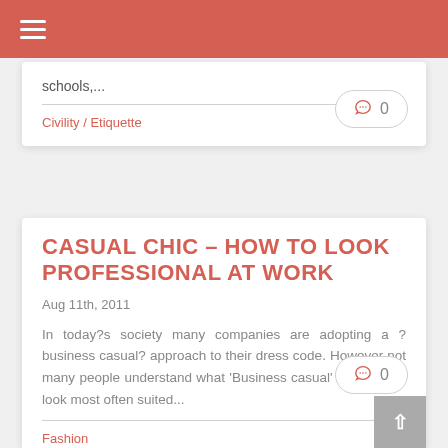☰ (hamburger menu)
schools,...
0 (comment count)
Civility / Etiquette
CASUAL CHIC – HOW TO LOOK PROFESSIONAL AT WORK
Aug 11th, 2011
In today?s society many companies are adopting a ?business casual? approach to their dress code. However not many people understand what 'Business casual' entails, is a look most often suited...
0 (comment count)
Fashion